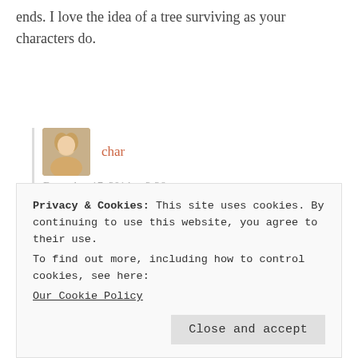ends. I love the idea of a tree surviving as your characters do.
[Figure (photo): Avatar photo of a blonde woman]
char
December 17, 2014 at 2:36 pm
I'm glad you like it. This theme just seemed to call to
Privacy & Cookies: This site uses cookies. By continuing to use this website, you agree to their use.
To find out more, including how to control cookies, see here:
Our Cookie Policy
Close and accept